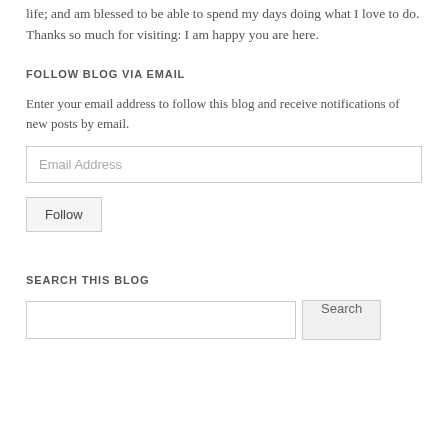life; and am blessed to be able to spend my days doing what I love to do. Thanks so much for visiting: I am happy you are here.
FOLLOW BLOG VIA EMAIL
Enter your email address to follow this blog and receive notifications of new posts by email.
Email Address
Follow
SEARCH THIS BLOG
Search